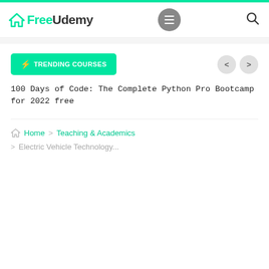[Figure (logo): FreeUdemy logo with house icon, teal/green colored 'Free' and dark 'Udemy' text]
100 Days of Code: The Complete Python Pro Bootcamp for 2022 free
Home > Teaching & Academics > Electric Vehicle Technology...